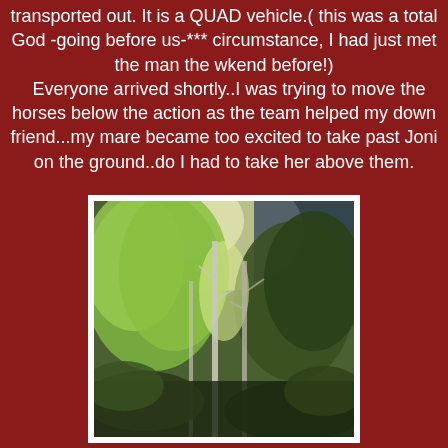transported out. It is a QUAD vehicle.( this was a total God -going before us-*** circumstance, I had just met the man the wkend before!) Everyone arrived shortly..I was trying to move the horses below the action as the team helped my down friend...my mare became too excited to take past Joni on the ground..do I had to take her above them.
[Figure (photo): A photograph of trees in a forest, showing green leafy trees and bare white/gray trunks against a dark background, with bright light filtering through the canopy.]